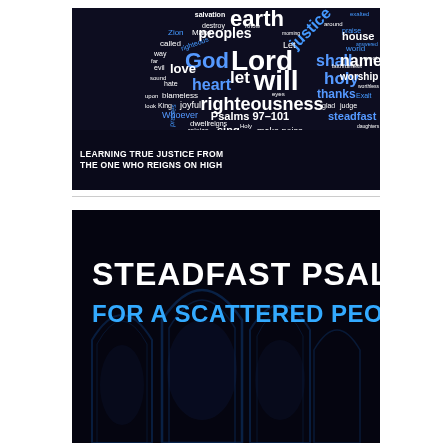[Figure (infographic): Word cloud on dark background with words related to Psalms 97-101 in white and blue colors. Prominent words include earth, Lord, God, will, righteousness, justice, shall, name, holy, worship, love, heart, let, joyful, thanks, steadfast, sing, make noise, blameless, Whoever, dwell, praises, reigns, rejoice. Bottom banner reads: LEARNING TRUE JUSTICE FROM THE ONE WHO REIGNS ON HIGH]
[Figure (infographic): Dark background image showing gothic church interior with arched windows, with large white bold text 'STEADFAST PSALMS' and blue text 'FOR A SCATTERED PEOPLE']